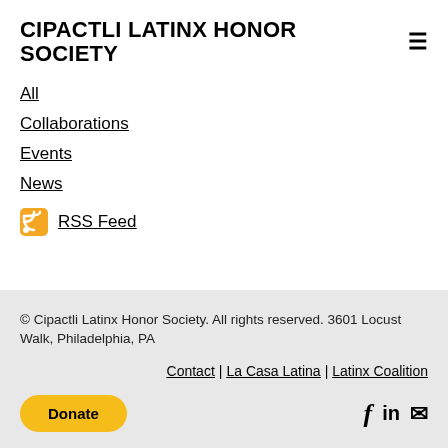CIPACTLI LATINX HONOR SOCIETY
All
Collaborations
Events
News
RSS Feed
© Cipactli Latinx Honor Society. All rights reserved. 3601 Locust Walk, Philadelphia, PA
Contact | La Casa Latina | Latinx Coalition
Donate